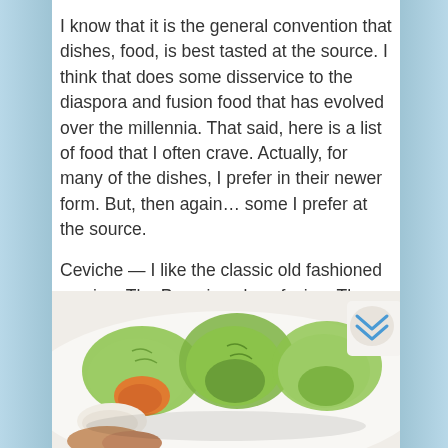I know that it is the general convention that dishes, food, is best tasted at the source. I think that does some disservice to the diaspora and fusion food that has evolved over the millennia. That said, here is a list of food that I often crave. Actually, for many of the dishes, I prefer in their newer form. But, then again… some I prefer at the source.
Ceviche — I like the classic old fashioned version. The Peruvians love fusion. They are a fusion and so is their food. So now one can find "warm ceviche" and ceviche not made with fish.
[Figure (photo): A photo of food items that appear to be lettuce wraps or dumplings on a white plate, with green leafy wrappers, orange-colored filling visible, and what appears to be a sauce bowl in the background.]